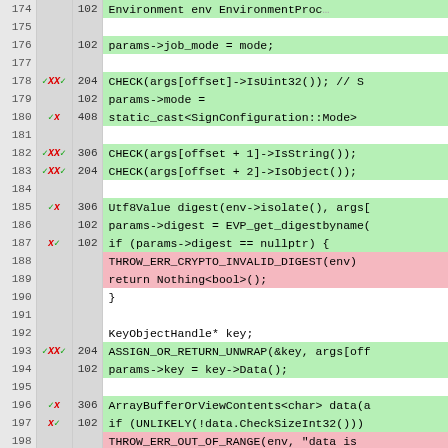[Figure (screenshot): Code coverage diff view showing lines 174-199 of C++ source code. Lines have line numbers, coverage markers (checkmarks and X), hit counts, and code content. Green highlighted lines are covered, red highlighted lines are uncovered.]